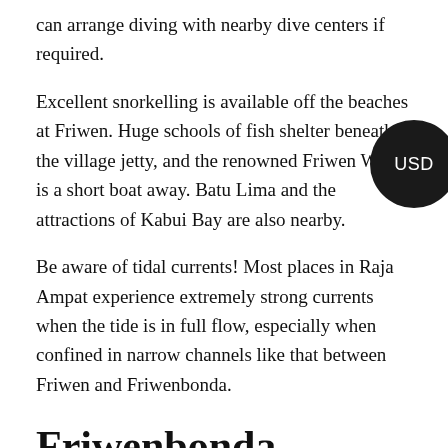can arrange diving with nearby dive centers if required.
Excellent snorkelling is available off the beaches at Friwen. Huge schools of fish shelter beneath the village jetty, and the renowned Friwen Wall is a short boat away. Batu Lima and the attractions of Kabui Bay are also nearby.
Be aware of tidal currents! Most places in Raja Ampat experience extremely strong currents when the tide is in full flow, especially when confined in narrow channels like that between Friwen and Friwenbonda.
Friwenbonda
Area: 0.12 square kilometres
Coastline: ~1.7 km